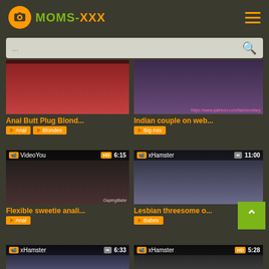[Figure (screenshot): Moms-XXX website header with orange logo and hamburger menu]
...
[Figure (screenshot): Video thumbnail: Anal Butt Plug Blond...]
Anal Butt Plug Blond...
Anal   Blondes
[Figure (screenshot): Video thumbnail: Indian couple on web...]
Indian couple on web...
Big Ass
[Figure (screenshot): Video thumbnail: Flexible sweetie anali... VideoYou HD 6:15]
Flexible sweetie anali...
Anal
[Figure (screenshot): Video thumbnail: Lesbian threesome o... xHamster 11:00]
Lesbian threesome o...
Babes
[Figure (screenshot): Video thumbnail: xHamster 6:33]
[Figure (screenshot): Video thumbnail: xHamster HD 5:28]